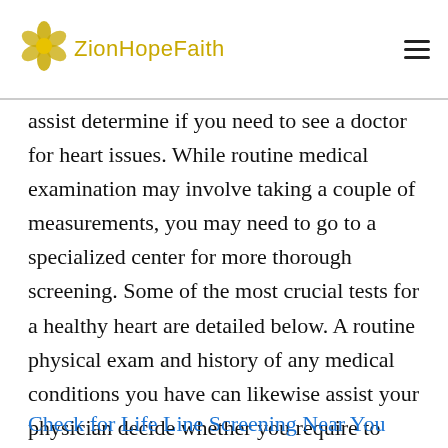ZionHopeFaith
assist determine if you need to see a doctor for heart issues. While routine medical examination may involve taking a couple of measurements, you may need to go to a specialized center for more thorough screening. Some of the most crucial tests for a healthy heart are detailed below. A routine physical exam and history of any medical conditions you have can likewise assist your physician decide whether you require to have a heart health screening.
Check for Life Line Screening Near You